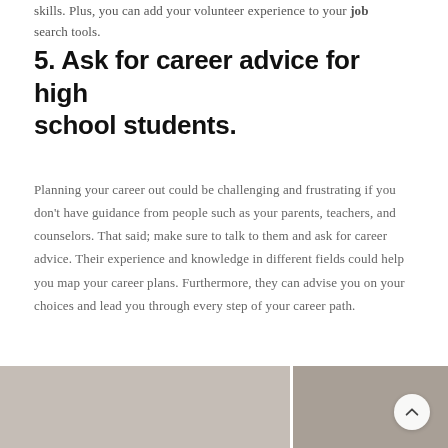skills. Plus, you can add your volunteer experience to your job search tools.
5. Ask for career advice for high school students.
Planning your career out could be challenging and frustrating if you don't have guidance from people such as your parents, teachers, and counselors. That said; make sure to talk to them and ask for career advice. Their experience and knowledge in different fields could help you map your career plans. Furthermore, they can advise you on your choices and lead you through every step of your career path.
[Figure (photo): Three side-by-side photos at the bottom of the page showing people, partially visible, as a decorative image strip.]